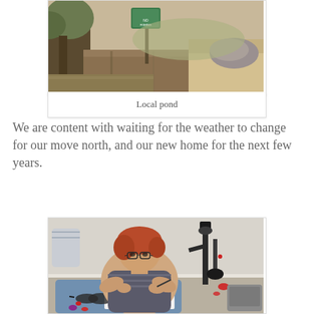[Figure (photo): Photo of a local pond with a green sign post, brown water reflecting surroundings, sandy shore, and a large boulder on the right side. Trees and dry grass in background.]
Local pond
We are content with waiting for the weather to change for our move north, and our new home for the next few years.
[Figure (photo): Photo of a woman with red hair and glasses sitting at a table working on jewelry or craftwork with a microscope/magnifier tool. She is wearing a sleeveless patterned top. On the table are small colored stones/gems, sunglasses, a blue mat, and other craft supplies. A trailer or RV is visible in the background.]